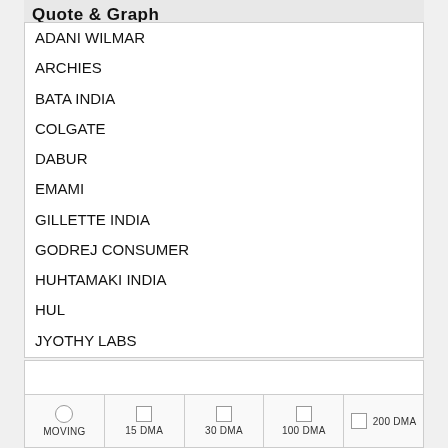Quote & Graph
ADANI WILMAR
ARCHIES
BATA INDIA
COLGATE
DABUR
EMAMI
GILLETTE INDIA
GODREJ CONSUMER
HUHTAMAKI INDIA
HUL
JYOTHY LABS
KOKUYO CAMLIN
MARICO
P&G HYGIENE
TATA CONSUMER
MOVING   15 DMA   30 DMA   100 DMA   200 DMA